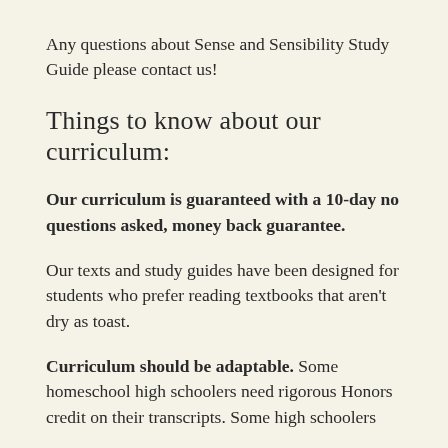Any questions about Sense and Sensibility Study Guide please contact us!
Things to know about our curriculum:
Our curriculum is guaranteed with a 10-day no questions asked, money back guarantee.
Our texts and study guides have been designed for students who prefer reading textbooks that aren't dry as toast.
Curriculum should be adaptable. Some homeschool high schoolers need rigorous Honors credit on their transcripts. Some high schoolers